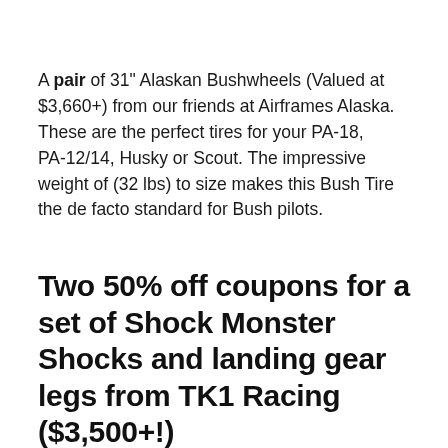A pair of 31" Alaskan Bushwheels (Valued at $3,660+) from our friends at Airframes Alaska. These are the perfect tires for your PA-18, PA-12/14, Husky or Scout. The impressive weight of (32 lbs) to size makes this Bush Tire the de facto standard for Bush pilots.
Two 50% off coupons for a set of Shock Monster Shocks and landing gear legs from TK1 Racing ($3,500+!)